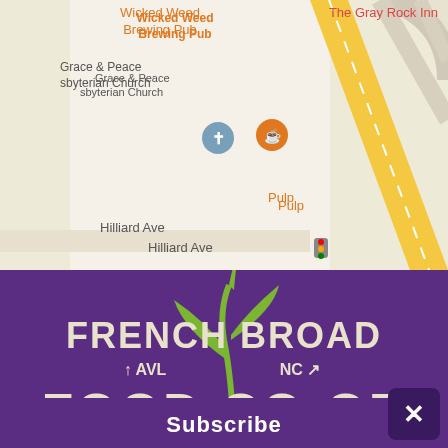[Figure (map): Google Maps screenshot showing area around Hilliard Ave in Asheville, NC with landmarks including Wicked Weed Brewing Pub, The Gray Rock Inn, Grace & Peace Presbyterian Church, and Pulp. Shows road intersections with yellow main road.]
[Figure (logo): French Broad Food Co-op logo on purple background with green plant/corn stalk illustration. Text reads FRENCH BROAD AVL NC FOOD CO-OP in cream/off-white lettering.]
Subscribe
[Figure (other): Close/X button in dark purple rounded rectangle in bottom right corner]